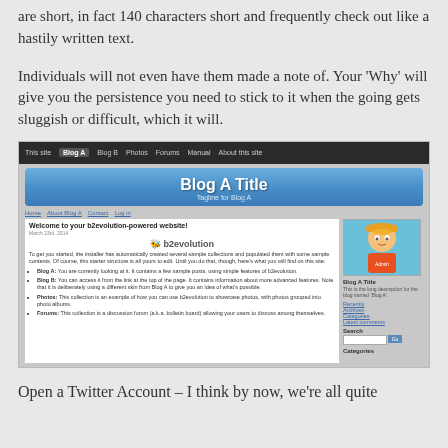are short, in fact 140 characters short and frequently check out like a hastily written text.
Individuals will not even have them made a note of. Your 'Why' will give you the persistence you need to stick to it when the going gets sluggish or difficult, which it will.
[Figure (screenshot): Screenshot of a b2evolution-powered blog website showing navigation bar with 'Blog A' selected, a blue header with 'Blog A Title' and 'Tagline for Blog A', a welcome post with b2evolution logo, blog content with bullet points, and a sidebar with admin avatar, blog links, search box and categories.]
Open a Twitter Account – I think by now, we're all quite